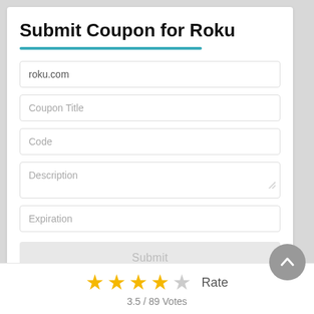Submit Coupon for Roku
roku.com
Coupon Title
Code
Description
Expiration
Submit
Rate
3.5 / 89 Votes